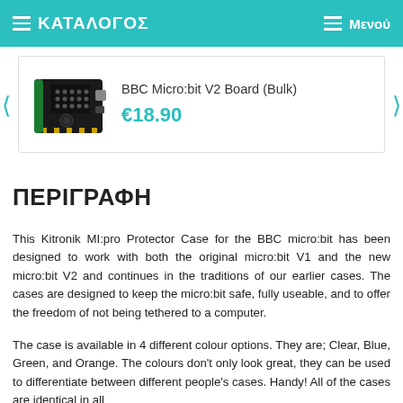ΚΑΤΑΛΟΓΟΣ   Μενού
[Figure (photo): BBC Micro:bit V2 board product image, black PCB with LED matrix and gold connector pins]
BBC Micro:bit V2 Board (Bulk)
€18.90
ΠΕΡΙΓΡΑΦΗ
This Kitronik MI:pro Protector Case for the BBC micro:bit has been designed to work with both the original micro:bit V1 and the new micro:bit V2 and continues in the traditions of our earlier cases. The cases are designed to keep the micro:bit safe, fully useable, and to offer the freedom of not being tethered to a computer.
The case is available in 4 different colour options. They are; Clear, Blue, Green, and Orange. The colours don't only look great, they can be used to differentiate between different people's cases. Handy! All of the cases are identical in all